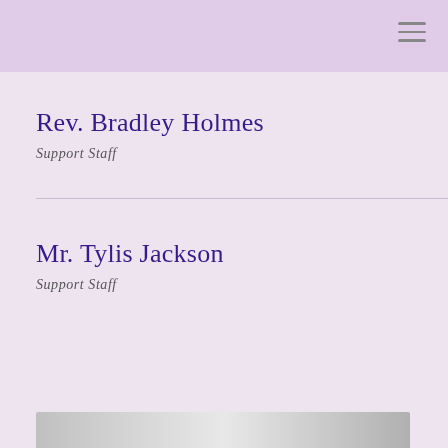Rev. Bradley Holmes
Support Staff
Mr. Tylis Jackson
Support Staff
[Figure (photo): Partial image visible at bottom of page]